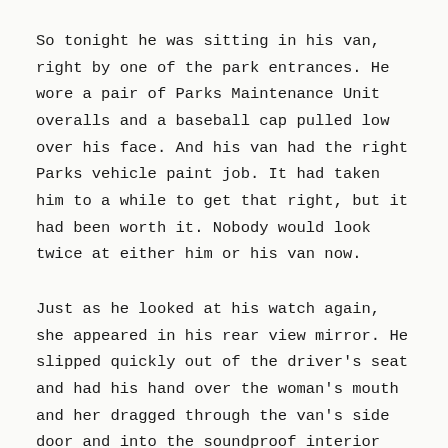So tonight he was sitting in his van, right by one of the park entrances. He wore a pair of Parks Maintenance Unit overalls and a baseball cap pulled low over his face. And his van had the right Parks vehicle paint job. It had taken him to a while to get that right, but it had been worth it. Nobody would look twice at either him or his van now.
Just as he looked at his watch again, she appeared in his rear view mirror. He slipped quickly out of the driver's seat and had his hand over the woman's mouth and her dragged through the van's side door and into the soundproof interior before she could even begin to think about drawing breath to scream. He held